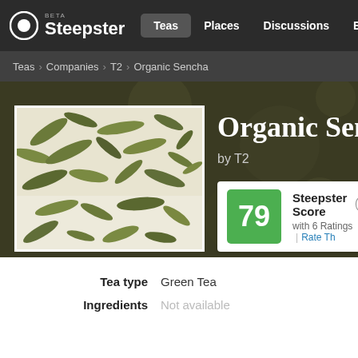Steepster BETA — Teas | Places | Discussions | Explore
Teas › Companies › T2 › Organic Sencha
[Figure (photo): Close-up photo of dried green tea leaves (Organic Sencha) spread on a white surface]
Organic Sencha
by T2
79 Steepster Score — with 6 Ratings | Rate This
Tea type: Green Tea
Ingredients: Not available